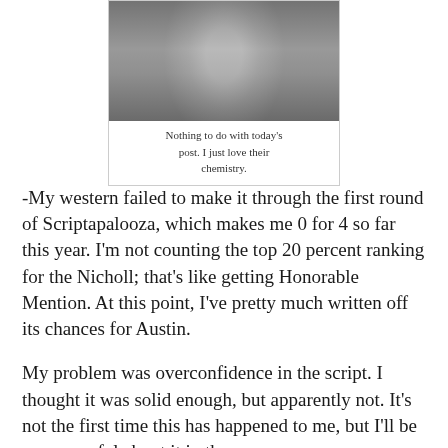[Figure (photo): Black and white portrait photo of a man in a suit and tie, shown from shoulders up]
Nothing to do with today's post. I just love their chemistry.
-My western failed to make it through the first round of Scriptapalooza, which makes me 0 for 4 so far this year. I'm not counting the top 20 percent ranking for the Nicholl; that's like getting Honorable Mention. At this point, I've pretty much written off its chances for Austin.
My problem was overconfidence in the script. I thought it was solid enough, but apparently not. It's not the first time this has happened to me, but I'll be more careful about it in the